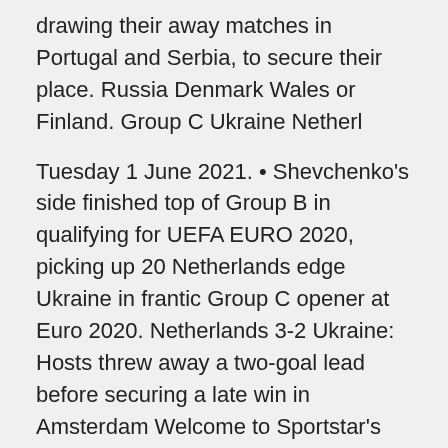drawing their away matches in Portugal and Serbia, to secure their place. Russia Denmark Wales or Finland. Group C Ukraine Netherl
Tuesday 1 June 2021. • Shevchenko's side finished top of Group B in qualifying for UEFA EURO 2020, picking up 20 Netherlands edge Ukraine in frantic Group C opener at Euro 2020. Netherlands 3-2 Ukraine: Hosts threw away a two-goal lead before securing a late win in Amsterdam Welcome to Sportstar's coverage of the Euro 2020 Group C match between the Netherlands and Ukraine from the Amsterdam Arena. That is all for today.